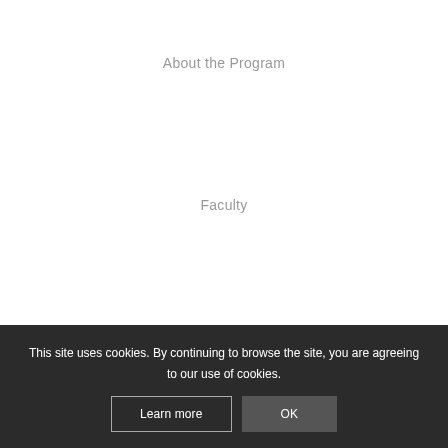About the Program
Faculty
Admissions
This site uses cookies. By continuing to browse the site, you are agreeing to our use of cookies.
Learn more
OK